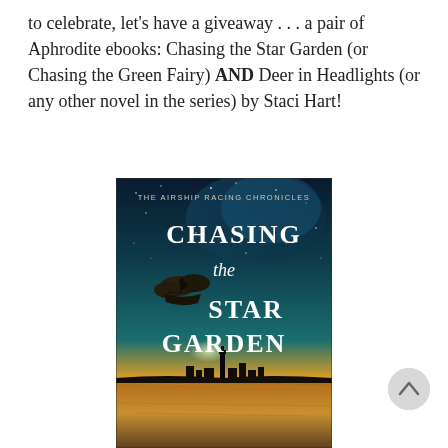to celebrate, let's have a giveaway . . . a pair of Aphrodite ebooks: Chasing the Star Garden (or Chasing the Green Fairy) AND Deer in Headlights (or any other novel in the series) by Staci Hart!
[Figure (photo): Book cover of 'Chasing the Star Garden' from The Airship Racing Chronicles. Dark teal/blue starry sky with an airship/zeppelin silhouette on the left, text reading 'THE AIRSHIP RACING CHRONICLES' at top, then 'CHASING the STAR GARDEN' in large white letters. Lower portion shows a sunset/golden sky over water with a cityscape silhouette.]